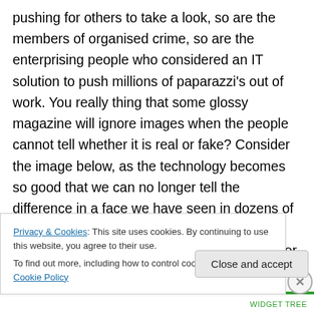pushing for others to take a look, so are the members of organised crime, so are the enterprising people who considered an IT solution to push millions of paparazzi's out of work. You really thing that some glossy magazine will ignore images when the people cannot tell whether it is real or fake? Consider the image below, as the technology becomes so good that we can no longer tell the difference in a face we have seen in dozens of movies, do you think we would be able to tell whether the boobies and shrubberies we never saw were real or deepfake? And when the images achieve 2400dpi, do you think the
Privacy & Cookies: This site uses cookies. By continuing to use this website, you agree to their use. To find out more, including how to control cookies, see here: Cookie Policy
Close and accept